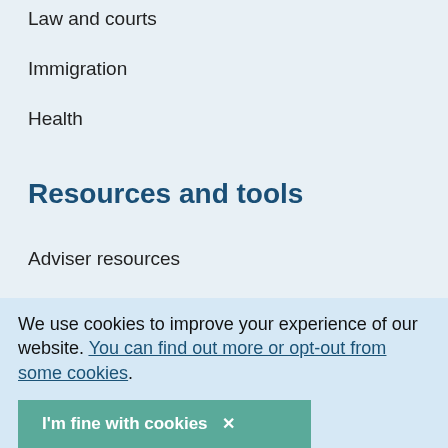Law and courts
Immigration
Health
Resources and tools
Adviser resources
Education resources
Site search
A to Z of advice
more from us
We use cookies to improve your experience of our website. You can find out more or opt-out from some cookies.
I'm fine with cookies ✕